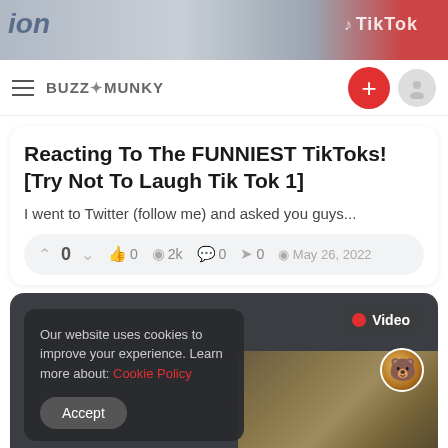[Figure (screenshot): Top banner image showing a partial video screenshot with TikTok branding and colorful background]
BUZZ★MUNKY
Reacting To The FUNNIEST TikToks! [Try Not To Laugh Tik Tok 1]
I went to Twitter (follow me) and asked you guys...
0  0  2k  0  0  May 26, 2022
[Figure (screenshot): Video card section with dark background, cookie consent popup, Video badge, and avatar icon]
Our website uses cookies to improve your experience. Learn more about: Cookie Policy
Accept